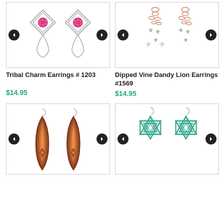[Figure (photo): Tribal Charm Earrings #1203 - decorative silver filigree earrings with pink/magenta circle charms]
Tribal Charm Earrings # 1203
$14.95
[Figure (photo): Dipped Vine Dandy Lion Earrings #1569 - rose gold chain earrings with dangling silver star charms]
Dipped Vine Dandy Lion Earrings #1569
$14.95
[Figure (photo): Geometric layered earrings in red/brown/orange with diamond pattern cutouts]
[Figure (photo): Star of David geometric teal/mint earrings with triangular cutout pattern]